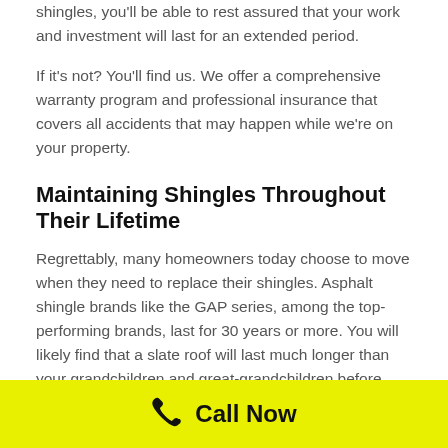shingles, you'll be able to rest assured that your work and investment will last for an extended period.
If it's not? You'll find us. We offer a comprehensive warranty program and professional insurance that covers all accidents that may happen while we're on your property.
Maintaining Shingles Throughout Their Lifetime
Regrettably, many homeowners today choose to move when they need to replace their shingles. Asphalt shingle brands like the GAP series, among the top-performing brands, last for 30 years or more. You will likely find that a slate roof will last much longer than your grandchildren and great-grandchildren before you!
Call Now